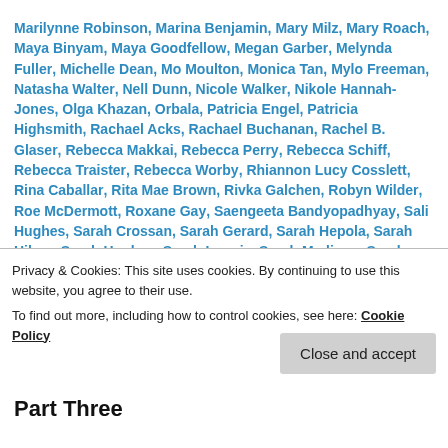Marilynne Robinson, Marina Benjamin, Mary Milz, Mary Roach, Maya Binyam, Maya Goodfellow, Megan Garber, Melynda Fuller, Michelle Dean, Mo Moulton, Monica Tan, Mylo Freeman, Natasha Walter, Nell Dunn, Nicole Walker, Nikole Hannah-Jones, Olga Khazan, Orbala, Patricia Engel, Patricia Highsmith, Rachael Acks, Rachael Buchanan, Rachel B. Glaser, Rebecca Makkai, Rebecca Perry, Rebecca Schiff, Rebecca Traister, Rebecca Worby, Rhiannon Lucy Cosslett, Rina Caballar, Rita Mae Brown, Rivka Galchen, Robyn Wilder, Roe McDermott, Roxane Gay, Saengeeta Bandyopadhyay, Sali Hughes, Sarah Crossan, Sarah Gerard, Sarah Hepola, Sarah Hilary, Sarah Hughes, Sarah Lunnie, Sarah Madison, Sarah Perry, Sarah Sweeney, Sarra Manning, Sonia Smith, Soniah Kamal, Sophie Heawood, Stephanie Danler, Stephanie Wittels Wachs, Sylvia Patterson, Tabitha Blankenbiller, Tanwi Nandini Islam, Teresa Preston, Tracey Thorn, Ulrika
Privacy & Cookies: This site uses cookies. By continuing to use this website, you agree to their use. To find out more, including how to control cookies, see here: Cookie Policy
Part Three